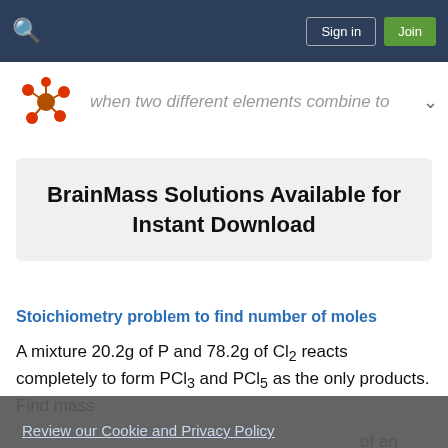Sign in | Join
[Figure (illustration): Molecule icon (red and orange atoms with bonds)]
when two different elements combine to
BrainMass Solutions Available for Instant Download
Stoichiometry problem to find number of moles
A mixture 20.2g of P and 78.2g of Cl2 reacts completely to form PCl3 and PCl5 as the only products. Find mass
Review our Cookie and Privacy Policy
OK
of an